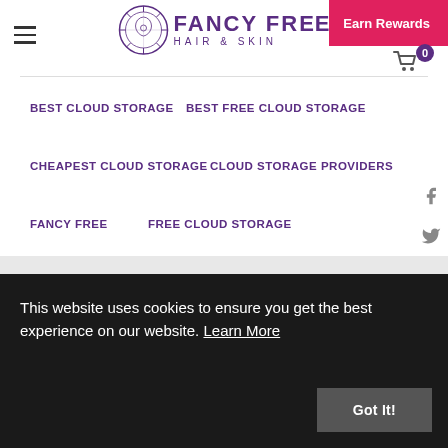[Figure (logo): Fancy Free Hair & Skin logo with circular decorative emblem]
Earn Rewards
BEST CLOUD STORAGE
BEST FREE CLOUD STORAGE
CHEAPEST CLOUD STORAGE
CLOUD STORAGE PROVIDERS
FANCY FREE
FREE CLOUD STORAGE
FREE CLOUD STORAGE PROVIDERS
This website uses cookies to ensure you get the best experience on our website. Learn More
Got It!